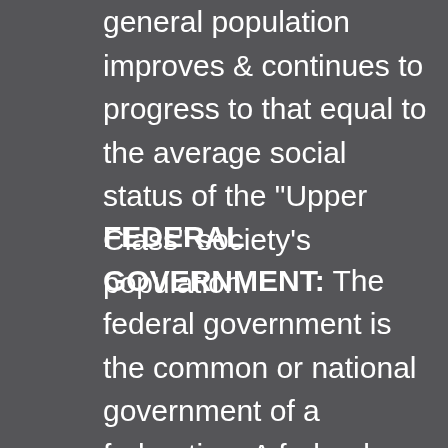general population improves & continues to progress to that equal to the average social status of the "Upper Class" society's population.
FEDERAL GOVERNMENT: The federal government is the common or national government of a federation. A federal government may have distinct powers at various levels authorized or delegated to it by its member states. The structure of federal governments vary.